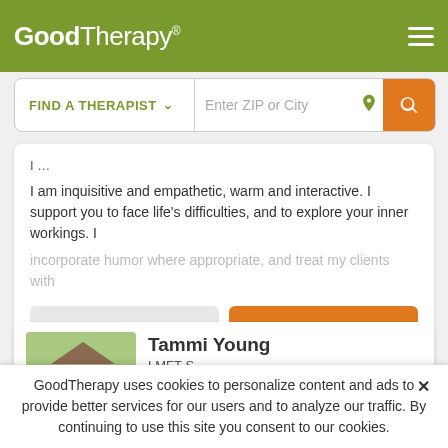GoodTherapy®
FIND A THERAPIST  ∨  Enter ZIP or City
I am inquisitive and empathetic, warm and interactive. I support you to face life's difficulties, and to explore your inner workings. I incorporate humor where appropriate, and treat my clients with
Email Me   405-652-0279
Tammi Young
LMFT-S
Counselor, Marriage & Family Therapist,
GoodTherapy uses cookies to personalize content and ads to provide better services for our users and to analyze our traffic. By continuing to use this site you consent to our cookies.